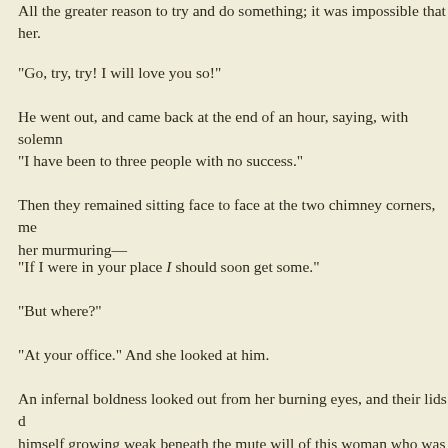All the greater reason to try and do something; it was impossible that her.
"Go, try, try! I will love you so!"
He went out, and came back at the end of an hour, saying, with solemn
"I have been to three people with no success."
Then they remained sitting face to face at the two chimney corners, me her murmuring—
"If I were in your place I should soon get some."
"But where?"
"At your office." And she looked at him.
An infernal boldness looked out from her burning eyes, and their lids d himself growing weak beneath the mute will of this woman who was u forehead, crying—
"Morel is to come back to-night; he will not refuse me, I hope" (this w morrow," he added.
Emma did not seem to welcome this hope with all the joy he had expe
"However, if you don't see me by three o'clock do not wait for me, my